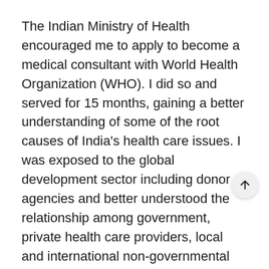The Indian Ministry of Health encouraged me to apply to become a medical consultant with World Health Organization (WHO). I did so and served for 15 months, gaining a better understanding of some of the root causes of India's health care issues. I was exposed to the global development sector including donor agencies and better understood the relationship among government, private health care providers, local and international non-governmental organizations (NGOs) and businesses. I learned to analyze and create policies and programs that looked beyond the individual.
I later joined the World Economic Forum in 2004 lead multisectoral alliances that included government, international organizations, chambers of commerce and NGOs in India, China and South